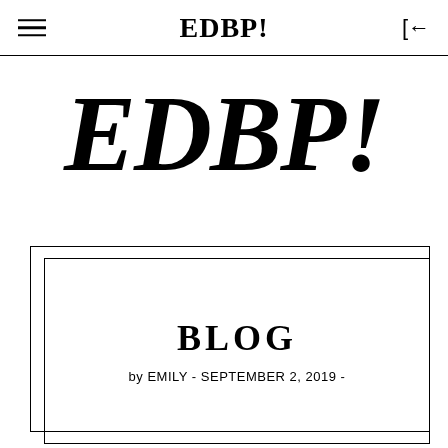EDBP!
EDBP!
BLOG
by EMILY - SEPTEMBER 2, 2019 -